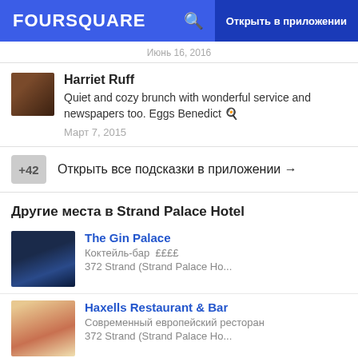FOURSQUARE   Открыть в приложении
Июнь 16, 2016
Harriet Ruff
Quiet and cozy brunch with wonderful service and newspapers too. Eggs Benedict 🍳
Март 7, 2015
+42  Открыть все подсказки в приложении →
Другие места в Strand Palace Hotel
The Gin Palace
Коктейль-бар  ££££
372 Strand (Strand Palace Ho...
Haxells Restaurant & Bar
Современный европейский ресторан
372 Strand (Strand Palace Ho...
Связанные запросы
joe allen лондон • joe allen лондон photos • joe allen лондон location • joe...